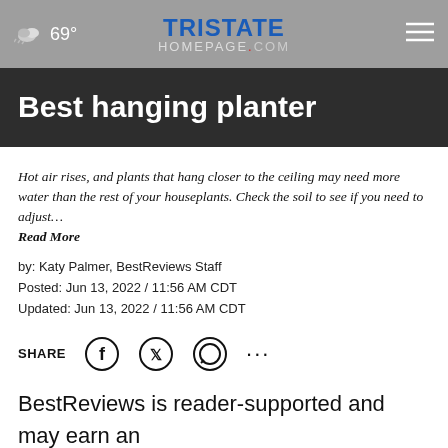69° Tristate Homepage.com
Best hanging planter
Hot air rises, and plants that hang closer to the ceiling may need more water than the rest of your houseplants. Check the soil to see if you need to adjust… Read More
by: Katy Palmer, BestReviews Staff
Posted: Jun 13, 2022 / 11:56 AM CDT
Updated: Jun 13, 2022 / 11:56 AM CDT
SHARE
BestReviews is reader-supported and may earn an affiliate commission. Details.